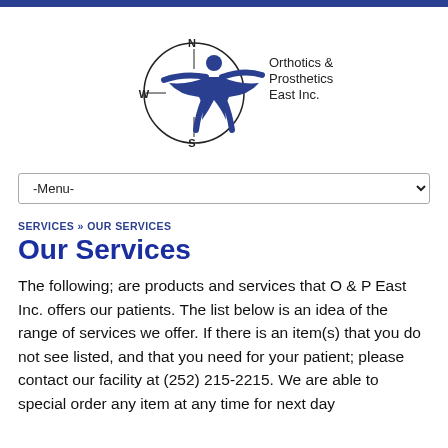[Figure (logo): Orthotics & Prosthetics East Inc. logo with compass circle and blue human figure]
-Menu-
SERVICES » OUR SERVICES
Our Services
The following; are products and services that O & P East Inc. offers our patients. The list below is an idea of the range of services we offer. If there is an item(s) that you do not see listed, and that you need for your patient; please contact our facility at (252) 215-2215. We are able to special order any item at any time for next day